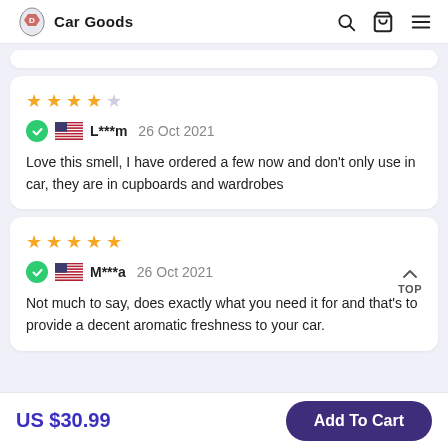Car Goods
Love this smell, I have ordered a few now and don't only use in car, they are in cupboards and wardrobes
Not much to say, does exactly what you need it for and that's to provide a decent aromatic freshness to your car.
US $30.99  Add To Cart